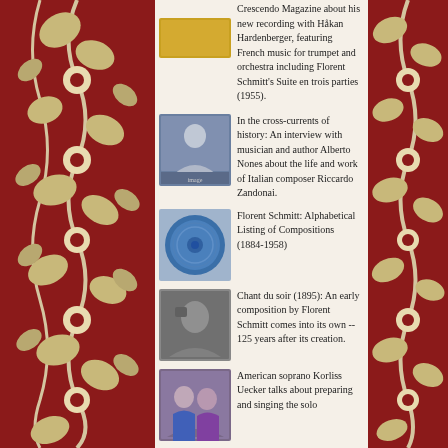[Figure (illustration): Decorative red floral border pattern on left side of page]
[Figure (illustration): Decorative red floral border pattern on right side of page]
Crescendo Magazine about his new recording with Håkan Hardenberger, featuring French music for trumpet and orchestra including Florent Schmitt's Suite en trois parties (1955).
[Figure (photo): Small thumbnail photo of a person, likely a musician or author]
In the cross-currents of history: An interview with musician and author Alberto Nones about the life and work of Italian composer Riccardo Zandonai.
[Figure (photo): Small thumbnail image of a blue decorative plate or disc]
Florent Schmitt: Alphabetical Listing of Compositions (1884-1958)
[Figure (photo): Small thumbnail black and white photo]
Chant du soir (1895): An early composition by Florent Schmitt comes into its own -- 125 years after its creation.
[Figure (photo): Small thumbnail photo of two people, likely performers]
American soprano Korliss Uecker talks about preparing and singing the solo